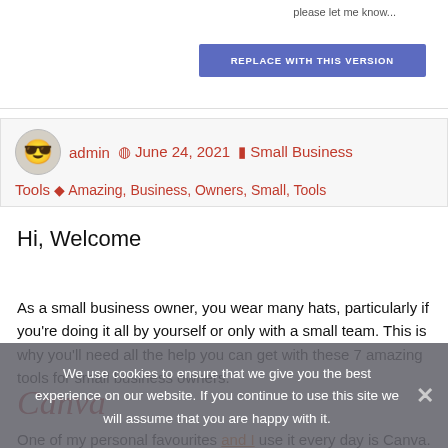[Figure (screenshot): Top portion of a web page showing a 'REPLACE WITH THIS VERSION' button in blue/indigo color]
admin  June 24, 2021  Small Business Tools  Amazing, Business, Owners, Small, Tools
Hi, Welcome
As a small business owner, you wear many hats, particularly if you're doing it all by yourself or only with a small team. This is why you'll need all the help you can get with these 7 amazing tools for small business owners.
Canva
One of my personal favourites and I use it every day is Canva. Canva is a free to use online tool where you can create images,
We use cookies to ensure that we give you the best experience on our website. If you continue to use this site we will assume that you are happy with it.